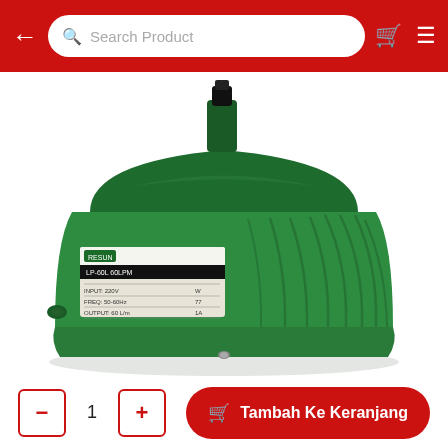Search Product
[Figure (photo): Green air pump / aerator device with ribbed housing and a label on the front, photographed from a slight angle showing the top and front face. The device is boxy with a dome top and vertical ridges along the sides.]
1
Tambah Ke Keranjang